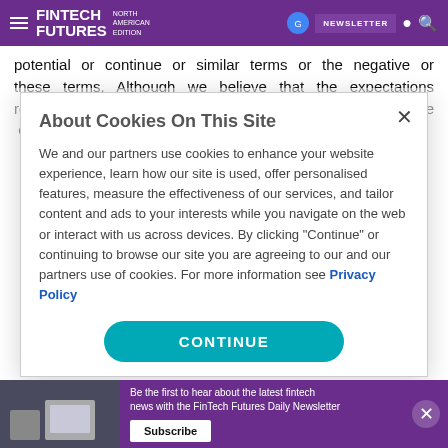FINTECH FUTURES NORTH AMERICAN EDITION | NEWSLETTER
potential or continue or similar terms or the negative of these terms. Although we believe that the expectations reflected in the forward-looking statements are reasonable, we cannot guarantee future results, levels of activity,
About Cookies On This Site
We and our partners use cookies to enhance your website experience, learn how our site is used, offer personalised features, measure the effectiveness of our services, and tailor content and ads to your interests while you navigate on the web or interact with us across devices. By clicking "Continue" or continuing to browse our site you are agreeing to our and our partners use of cookies. For more information see Privacy Policy
CONTINUE
Be the first to hear about the latest fintech news with the FinTech Futures Daily Newsletter
Subscribe